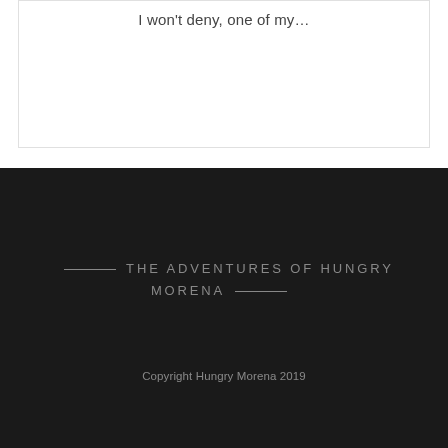I won't deny, one of my…
THE ADVENTURES OF HUNGRY MORENA
Copyright Hungry Morena 2019